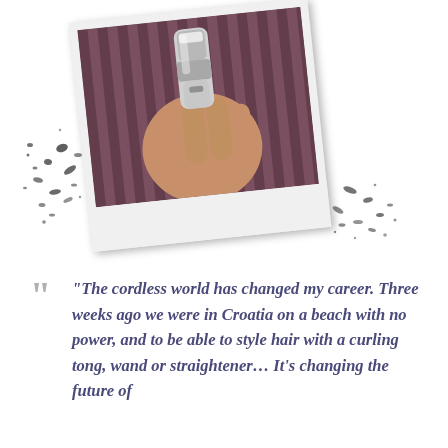[Figure (photo): A polaroid-style photograph showing a hand holding a chrome/silver cordless hair styling tool (curling tong or clipper), against a striped fabric background. The polaroid is rotated slightly clockwise, with ink splatter decoration around it on a white background.]
“The cordless world has changed my career. Three weeks ago we were in Croatia on a beach with no power, and to be able to style hair with a curling tong, wand or straightener… It’s changing the future of